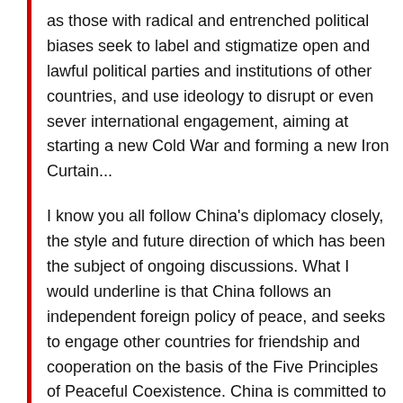as those with radical and entrenched political biases seek to label and stigmatize open and lawful political parties and institutions of other countries, and use ideology to disrupt or even sever international engagement, aiming at starting a new Cold War and forming a new Iron Curtain...
I know you all follow China's diplomacy closely, the style and future direction of which has been the subject of ongoing discussions. What I would underline is that China follows an independent foreign policy of peace, and seeks to engage other countries for friendship and cooperation on the basis of the Five Principles of Peaceful Coexistence. China is committed to bringing happiness to the Chinese people and contributing to progress of humanity, and seeks to play a constructive role for